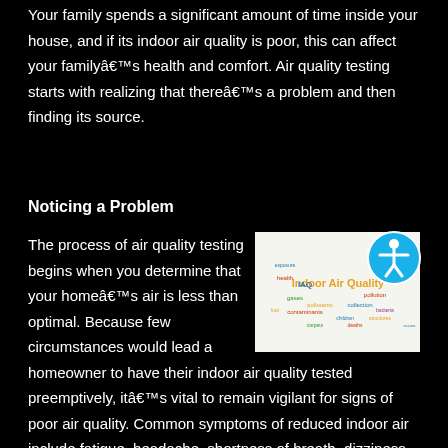Your family spends a significant amount of time inside your house, and if its indoor air quality is poor, this can affect your familyâs health and comfort. Air quality testing starts with realizing that thereâs a problem and then finding its source.
Noticing a Problem
[Figure (illustration): Word cloud related to Indoor Air Quality featuring words like IAQ, Indoor Air Quality, pollutants, pollution, gases, collection, bacteria, contaminants, children, carpets, deaths, structures, air filters, accumulation, health, comfort, exposure]
The process of air quality testing begins when you determine that your homeâs air is less than optimal. Because few circumstances would lead a homeowner to have their indoor air quality tested preemptively, itâs vital to remain vigilant for signs of poor air quality. Common symptoms of reduced indoor air include fatigue, headache, shortness of breath, dizziness,